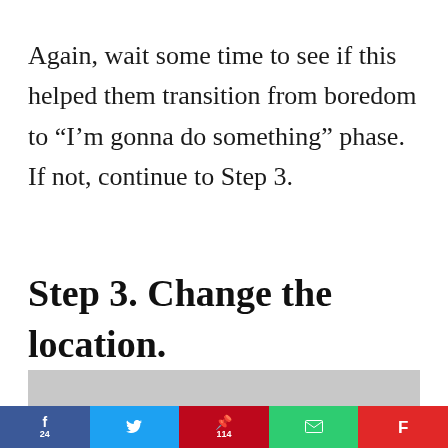Again, wait some time to see if this helped them transition from boredom to “I’m gonna do something” phase. If not, continue to Step 3.
Step 3. Change the location.
[Figure (photo): Partial photo visible at bottom of page, gray/muted tones]
f 24 | (Twitter bird) | p 114 | (envelope) | F